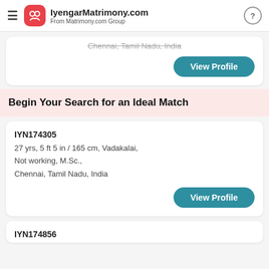IyengarMatrimony.com — From Matrimony.com Group
Chennai, Tamil Nadu, India
View Profile
Begin Your Search for an Ideal Match
IYN174305
27 yrs, 5 ft 5 in / 165 cm, Vadakalai,
Not working, M.Sc.,
Chennai, Tamil Nadu, India
View Profile
IYN174856